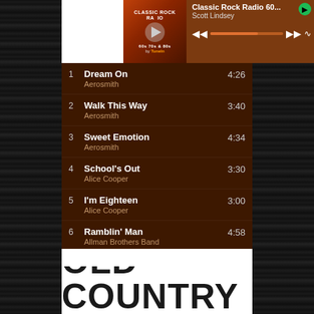[Figure (screenshot): Spotify Classic Rock Radio player interface showing album art, track controls, and playlist with 6 songs. Player header shows 'Classic Rock Radio 60...' by Scott Lindsey. Playlist: 1. Dream On - Aerosmith 4:26, 2. Walk This Way - Aerosmith 3:40, 3. Sweet Emotion - Aerosmith 4:34, 4. School's Out - Alice Cooper 3:30, 5. I'm Eighteen - Alice Cooper 3:00, 6. Ramblin' Man - Allman Brothers Band 4:58]
OLD COUNTRY